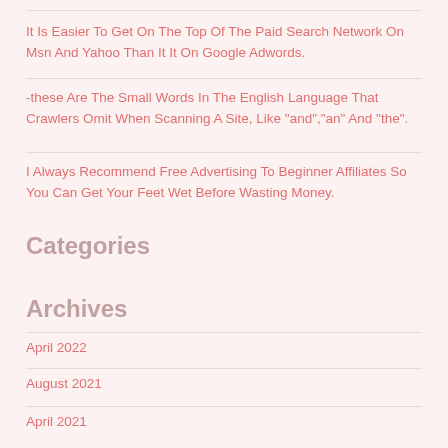It Is Easier To Get On The Top Of The Paid Search Network On Msn And Yahoo Than It It On Google Adwords.
-these Are The Small Words In The English Language That Crawlers Omit When Scanning A Site, Like "and","an" And "the".
I Always Recommend Free Advertising To Beginner Affiliates So You Can Get Your Feet Wet Before Wasting Money.
Categories
Archives
April 2022
August 2021
April 2021